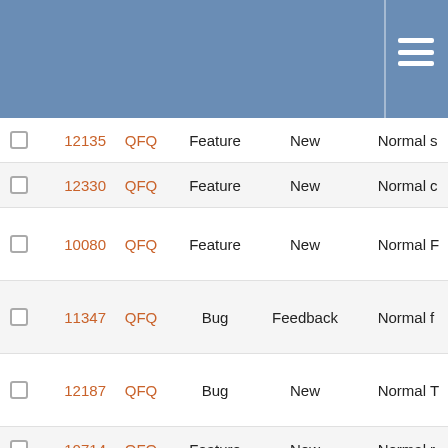|  | ID | Project | Type | Status | Priority |  |
| --- | --- | --- | --- | --- | --- | --- |
|  | 12135 | QFQ | Feature | New | Normal | s |
|  | 12330 | QFQ | Feature | New | Normal | c |
|  | 10080 | QFQ | Feature | New | Normal | F |
|  | 11347 | QFQ | Bug | Feedback | Normal | f |
|  | 12187 | QFQ | Bug | New | Normal | T |
|  | 10714 | QFQ | Feature | New | Normal | r |
|  | 8217 | QFQ | Feature | New | Normal | it |
|  | 11516 | QFQ | Feature | New | Normal | M |